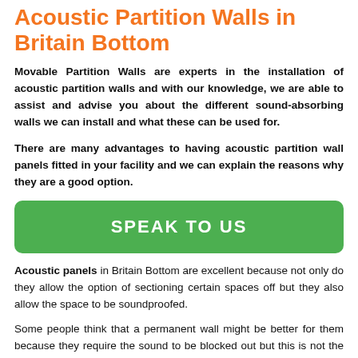Acoustic Partition Walls in Britain Bottom
Movable Partition Walls are experts in the installation of acoustic partition walls and with our knowledge, we are able to assist and advise you about the different sound-absorbing walls we can install and what these can be used for.
There are many advantages to having acoustic partition wall panels fitted in your facility and we can explain the reasons why they are a good option.
[Figure (other): Green button with text SPEAK TO US]
Acoustic panels in Britain Bottom are excellent because not only do they allow the option of sectioning certain spaces off but they also allow the space to be soundproofed.
Some people think that a permanent wall might be better for them because they require the sound to be blocked out but this is not the case, as the designs which we have available mean that you could